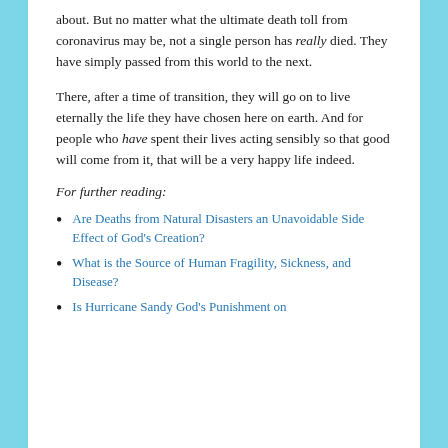about. But no matter what the ultimate death toll from coronavirus may be, not a single person has really died. They have simply passed from this world to the next.
There, after a time of transition, they will go on to live eternally the life they have chosen here on earth. And for people who have spent their lives acting sensibly so that good will come from it, that will be a very happy life indeed.
For further reading:
Are Deaths from Natural Disasters an Unavoidable Side Effect of God's Creation?
What is the Source of Human Fragility, Sickness, and Disease?
Is Hurricane Sandy God's Punishment on